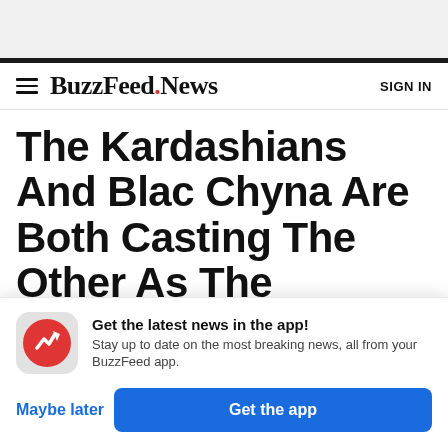BuzzFeed.News | SIGN IN
The Kardashians And Blac Chyna Are Both Casting The Other As The Scheming Villain As
[Figure (infographic): App promotion popup with BuzzFeed logo icon (red circle with white trending arrow), headline 'Get the latest news in the app!', subtext 'Stay up to date on the most breaking news, all from your BuzzFeed app.', 'Maybe later' link and 'Get the app' blue button.]